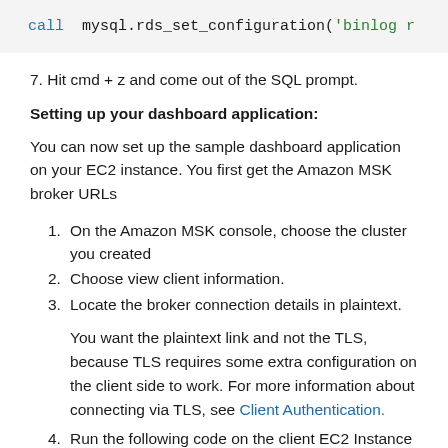[Figure (screenshot): Code block showing: call  mysql.rds_set_configuration('binlog r]
7. Hit cmd + z and come out of the SQL prompt.
Setting up your dashboard application:
You can now set up the sample dashboard application on your EC2 instance. You first get the Amazon MSK broker URLs
1. On the Amazon MSK console, choose the cluster you created
2. Choose view client information.
3. Locate the broker connection details in plaintext.
You want the plaintext link and not the TLS, because TLS requires some extra configuration on the client side to work. For more information about connecting via TLS, see Client Authentication.
4. Run the following code on the client EC2 Instance to launch